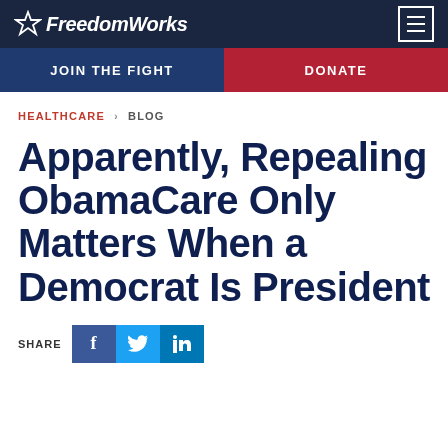FreedomWorks
JOIN THE FIGHT | DONATE
HEALTHCARE › BLOG
Apparently, Repealing ObamaCare Only Matters When a Democrat Is President
SHARE